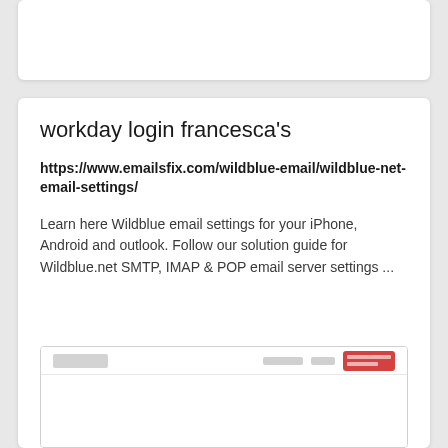[Figure (screenshot): Partial top card showing a white rounded card with grey background, content cropped]
workday login francesca's
https://www.emailsfix.com/wildblue-email/wildblue-net-email-settings/
Learn here Wildblue email settings for your iPhone, Android and outlook. Follow our solution guide for Wildblue.net SMTP, IMAP & POP email server settings ...
[Figure (screenshot): Thumbnail preview of emailsfix.com website showing logo, navigation, and a red button element]